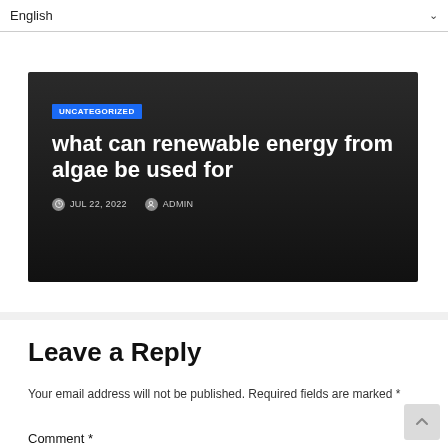English
[Figure (screenshot): Dark article card with UNCATEGORIZED badge, title 'what can renewable energy from algae be used for', date JUL 22, 2022, author ADMIN]
Leave a Reply
Your email address will not be published. Required fields are marked *
Comment *